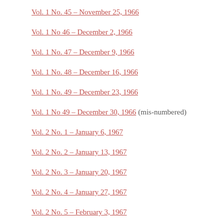Vol. 1 No. 45 – November 25, 1966
Vol. 1 No 46 – December 2, 1966
Vol. 1 No. 47 – December 9, 1966
Vol. 1 No. 48 – December 16, 1966
Vol. 1 No. 49 – December 23, 1966
Vol. 1 No 49 – December 30, 1966 (mis-numbered)
Vol. 2 No. 1 – January 6, 1967
Vol. 2 No. 2 – January 13, 1967
Vol. 2 No. 3 – January 20, 1967
Vol. 2 No. 4 – January 27, 1967
Vol. 2 No. 5 – February 3, 1967
Vol. 2 No. 6 – February 13, 1967
Vol. 2. No. 7 – February 20, 1967